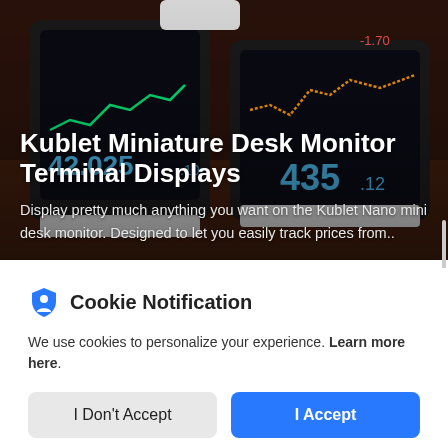[Figure (photo): Photo of Kublet Miniature Desk Monitor Terminal Display devices showing stock price charts and numbers on dark screens, with green and orange line charts visible, numbers 42.025 and 435.12 displayed on the monitors.]
Kublet Miniature Desk Monitor Terminal Displays
Display pretty much anything you want on the Kublet Nano mini desk monitor. Designed to let you easily track prices from..
Cookie Notification
We use cookies to personalize your experience. Learn more here.